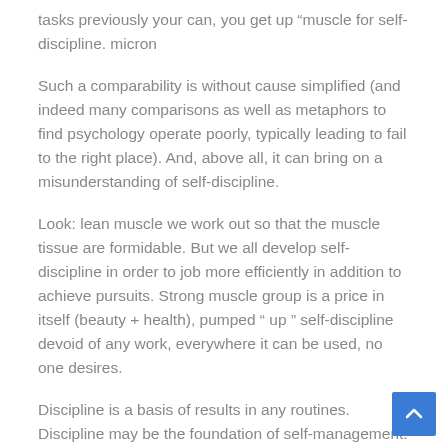tasks previously your can, you get up “muscle for self-discipline. micron
Such a comparability is without cause simplified (and indeed many comparisons as well as metaphors to find psychology operate poorly, typically leading to fail to the right place). And, above all, it can bring on a misunderstanding of self-discipline.
Look: lean muscle we work out so that the muscle tissue are formidable. But we all develop self-discipline in order to job more efficiently in addition to achieve pursuits. Strong muscle group is a price in itself (beauty + health), pumped “ up ” self-discipline devoid of any work, everywhere it can be used, no one desires.
Discipline is a basis of results in any routines. Discipline may be the foundation of self-management.